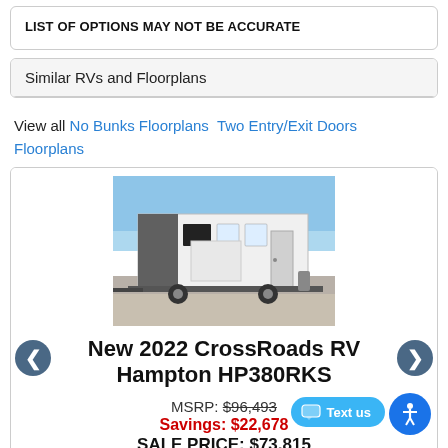LIST OF OPTIONS MAY NOT BE ACCURATE
Similar RVs and Floorplans
View all No Bunks Floorplans  Two Entry/Exit Doors Floorplans
[Figure (photo): Photo of a white 2022 CrossRoads RV Hampton HP380RKS parked outdoors]
New 2022 CrossRoads RV Hampton HP380RKS
MSRP: $96,493
Savings: $22,678
SALE PRICE: $73,815